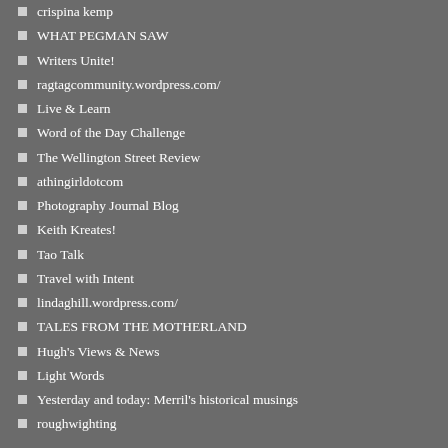crispina kemp
WHAT PEGMAN SAW
Writers Unite!
ragtagcommunity.wordpress.com/
Live & Learn
Word of the Day Challenge
The Wellington Street Review
athingirldotcom
Photography Journal Blog
Keith Kreates!
Tao Talk
Travel with Intent
lindaghill.wordpress.com/
TALES FROM THE MOTHERLAND
Hugh's Views & News
Light Words
Yesterday and today: Merril's historical musings
roughwighting
Goodreads
[Figure (other): Book card for 'The Magic Factory' by Morgan Rice showing book cover image on right side with dark blue mountainous scene]